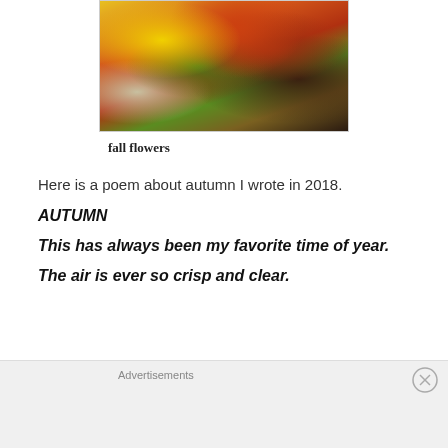[Figure (photo): A close-up photo of autumn fall flowers including yellow sunflowers and orange/red chrysanthemums with green leaves in a basket arrangement on a wooden surface]
fall flowers
Here is a poem about autumn I wrote in 2018.
AUTUMN
This has always been my favorite time of year.
The air is ever so crisp and clear.
Advertisements